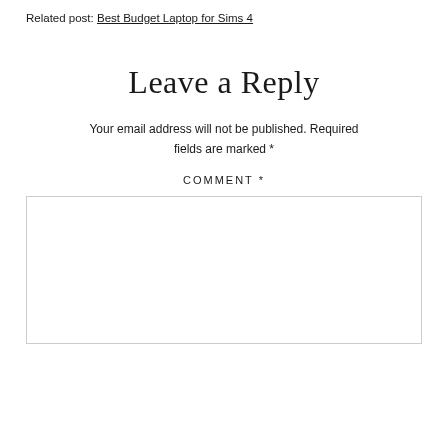Related post: Best Budget Laptop for Sims 4
Leave a Reply
Your email address will not be published. Required fields are marked *
COMMENT *
[Figure (other): Empty comment text area input box with light gray border]